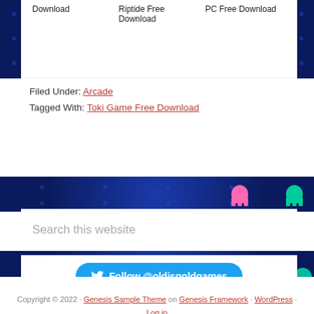Download   Riptide Free Download   PC Free Download
Filed Under: Arcade
Tagged With: Toki Game Free Download
Search this website
Follow @oldisgoldgames
Copyright © 2022 · Genesis Sample Theme on Genesis Framework · WordPress · Log in